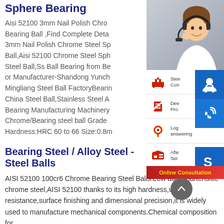Sphere Bearing
Aisi 52100 3mm Nail Polish Chrome Steel Sphere Bearing Ball ,Find Complete Details about Aisi 52100 3mm Nail Polish Chrome Steel Sphere Ball,Aisi 52100 Chrome Steel Sphere Steel Ball,Ss Ball Bearing from Bearing or Manufacturer-Shandong Yunch Mingliang Steel Ball FactoryBearing China Steel Ball,Stainless Steel A Bearing Manufacturing Machinery Chrome/Bearing steel ball Grade Hardness:HRC 60 to 66 Size:0.8m
[Figure (photo): Customer service representative woman wearing headset, with sidebar UI panels showing company service icons]
Bearing Steel / Alloy Steel - Steel Balls
AISI 52100 100cr6 Chrome Bearing Steel Balls.Low alloy martensitic chrome steel,AISI 52100 thanks to its high hardness,wear resistance,surface finishing and dimensional precision,it is widely used to manufacture mechanical components.Chemical composition for